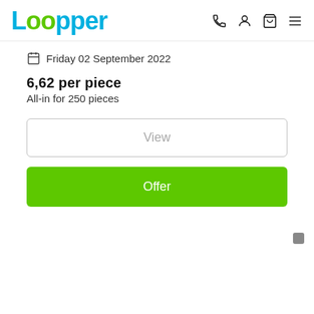loopper
Friday 02 September 2022
6,62 per piece
All-in for 250 pieces
View
Offer